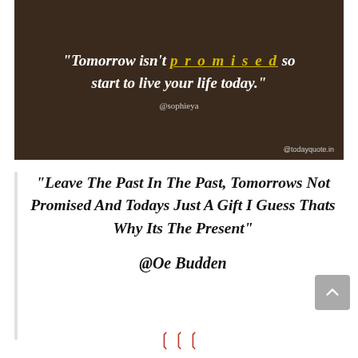[Figure (illustration): Dark brown background quote image with white bold text: "Tomorrow isn't promised so start to live your life today." with 'promised' in yellow underlined text, attributed to @sophieya, watermark @todayquote.in]
“Leave The Past In The Past, Tomorrows Not Promised And Todays Just A Gift I Guess Thats Why Its The Present”
@Oe Budden